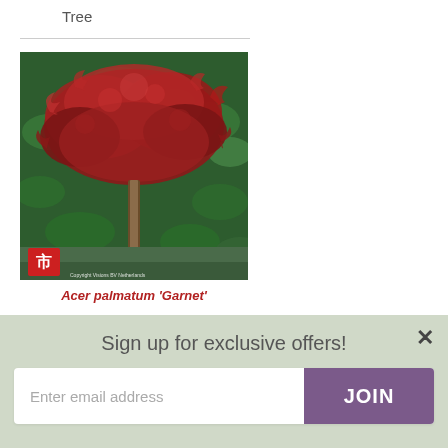Tree
[Figure (photo): Photograph of Acer palmatum 'Garnet' Japanese maple tree with deep red-purple lacy foliage against a green leafy background. A nursery label logo is visible in the bottom-left corner with text 'Copyright Visions BV Netherlands'.]
Acer palmatum 'Garnet'
Sign up for exclusive offers!
Enter email address
JOIN